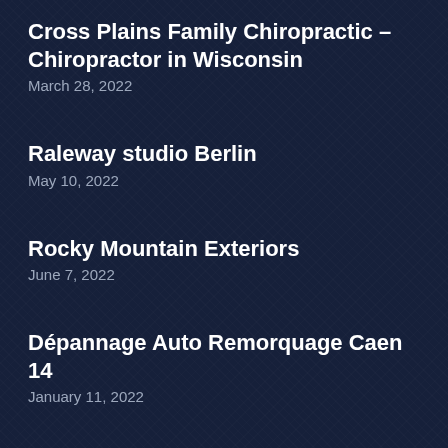Cross Plains Family Chiropractic – Chiropractor in Wisconsin
March 28, 2022
Raleway studio Berlin
May 10, 2022
Rocky Mountain Exteriors
June 7, 2022
Dépannage Auto Remorquage Caen 14
January 11, 2022
M & M DEMOLITION CONTRACTORS
April 13, 2022